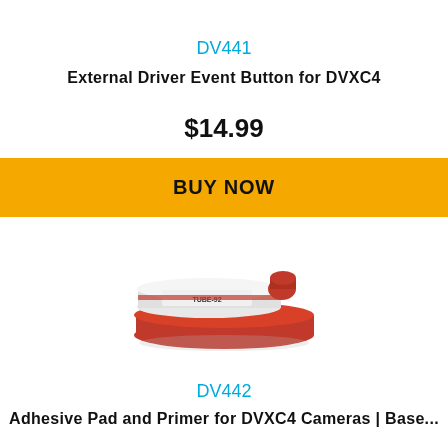DV441
External Driver Event Button for DVXC4
$14.99
BUY NOW
[Figure (photo): Product photo of adhesive pad and primer for DVXC4 camera]
DV442
Adhesive Pad and Primer for DVXC4 Cameras | Base...